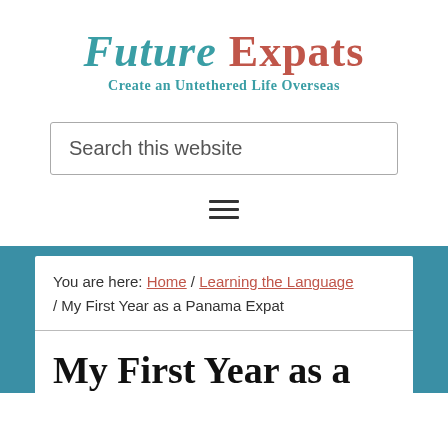Future Expats — Create an Untethered Life Overseas
Search this website
[Figure (other): Hamburger menu icon (three horizontal lines)]
You are here: Home / Learning the Language / My First Year as a Panama Expat
My First Year as a